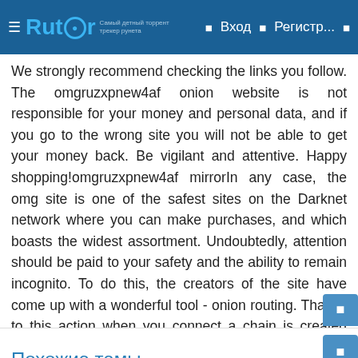Rutor  Вход  Регистр...
We strongly recommend checking the links you follow. The omgruzxpnew4af onion website is not responsible for your money and personal data, and if you go to the wrong site you will not be able to get your money back. Be vigilant and attentive. Happy shopping!omgruzxpnew4af mirrorIn any case, the omg site is one of the safest sites on the Darknet network where you can make purchases, and which boasts the widest assortment. Undoubtedly, attention should be paid to your safety and the ability to remain incognito. To do this, the creators of the site have come up with a wonderful tool - onion routing. Thanks to this action when you connect a chain is created that hides your external IP address and you remain incognito. For the safest use of the omgruzxpnew4af mirror you will need to install a TOR browser for yourself, for this you need to download the archive, install the program on your PC and get to work.
Похожие темы
Правильные ссылки на рамп